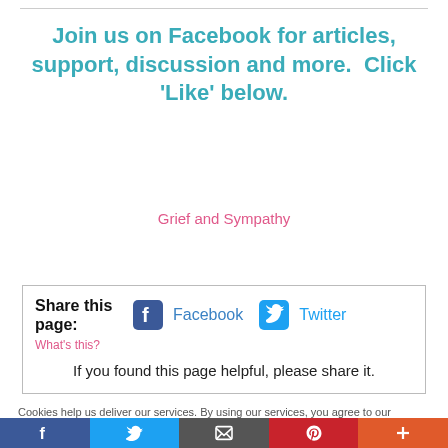Join us on Facebook for articles, support, discussion and more.  Click 'Like' below.
Grief and Sympathy
Share this page:
What's this?
If you found this page helpful, please share it.
Cookies help us deliver our services. By using our services, you agree to our